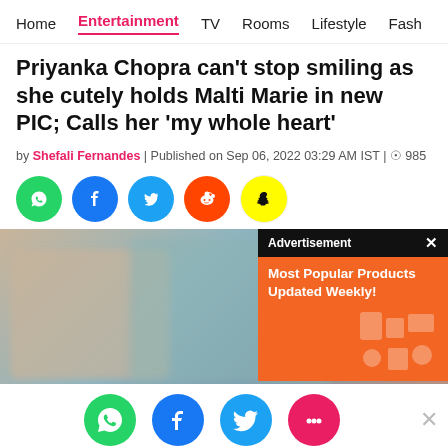Home | Entertainment | TV | Rooms | Lifestyle | Fash
Priyanka Chopra can't stop smiling as she cutely holds Malti Marie in new PIC; Calls her 'my whole heart'
by Shefali Fernandes | Published on Sep 06, 2022 03:29 AM IST | 985
[Figure (other): Social share icons: WhatsApp (green), Facebook (blue), Twitter (blue), Reddit (orange-red), Snapchat (yellow)]
[Figure (photo): Blurred article hero image with advertisement overlay. Ad overlay shows orange background with text 'Most Popular Products Updated Weekly!' and product icons. Ad header reads 'Advertisement' with close X button.]
[Figure (other): Bottom social share icons: WhatsApp (green), Facebook (blue), Twitter (blue), chat/comments (pink). Dismiss X on right.]
[Figure (other): Bottom advertisement banner for 'CHAITANYA - OPEN TO FINDING LOVE AGAIN?' with PinkVilla branding and Watch Now button.]